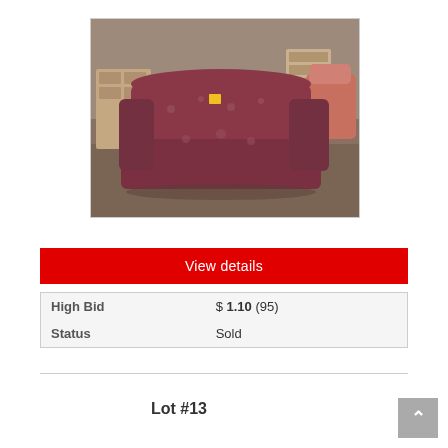[Figure (photo): Photo of a large patterned upholstered loveseat/sofa in dark burgundy/floral fabric, sitting in what appears to be a warehouse or thrift store with other furniture visible in the background.]
View details
| High Bid | $ 1.10 (95) |
| Status | Sold |
Lot #13